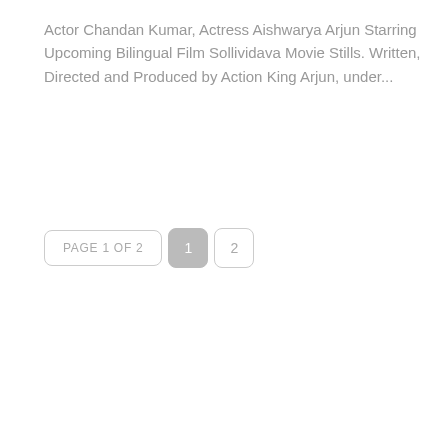Actor Chandan Kumar, Actress Aishwarya Arjun Starring Upcoming Bilingual Film Sollividava Movie Stills. Written, Directed and Produced by Action King Arjun, under...
PAGE 1 OF 2   1   2